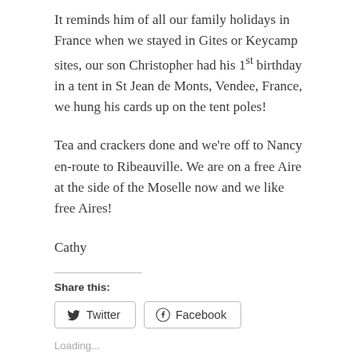It reminds him of all our family holidays in France when we stayed in Gites or Keycamp sites, our son Christopher had his 1st birthday in a tent in St Jean de Monts, Vendee, France, we hung his cards up on the tent poles!
Tea and crackers done and we're off to Nancy en-route to Ribeauville. We are on a free Aire at the side of the Moselle now and we like free Aires!
Cathy
Share this:
Twitter  Facebook
Loading...